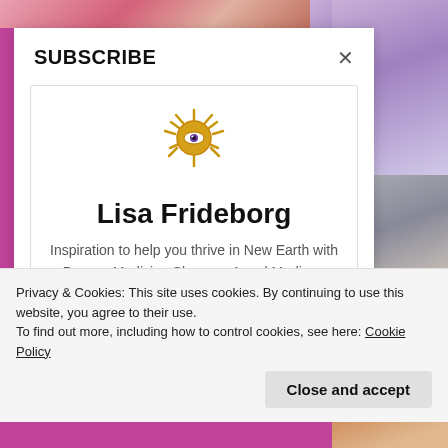SUBSCRIBE
[Figure (illustration): Sun/eye mystical logo icon for Lisa Frideborg blog]
Lisa Frideborg
Inspiration to help you thrive in New Earth with Dragon Medicine Shaman, Angel Medium, Metaphysician, Tarot & Rune reader Lisa Frideborg.
Privacy & Cookies: This site uses cookies. By continuing to use this website, you agree to their use.
To find out more, including how to control cookies, see here: Cookie Policy
Close and accept